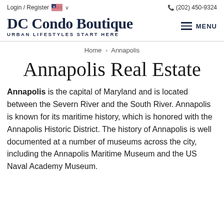Login / Register   (202) 450-9324
DC Condo Boutique
URBAN LIFESTYLES START HERE
Home > Annapolis
Annapolis Real Estate
Annapolis is the capital of Maryland and is located between the Severn River and the South River. Annapolis is known for its maritime history, which is honored with the Annapolis Historic District. The history of Annapolis is well documented at a number of museums across the city, including the Annapolis Maritime Museum and the US Naval Academy Museum.